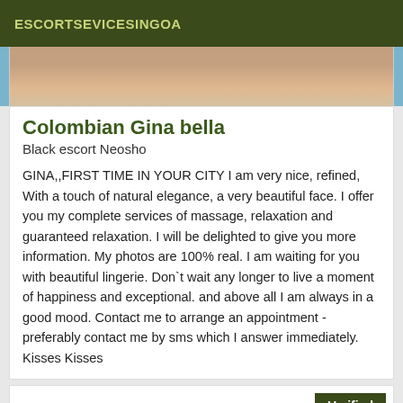ESCORTSEVICESINGOA
[Figure (photo): Partial photo of a person in a teal/blue outfit, cropped to show lower body area only]
Colombian Gina bella
Black escort Neosho
GINA,,FIRST TIME IN YOUR CITY I am very nice, refined, With a touch of natural elegance, a very beautiful face. I offer you my complete services of massage, relaxation and guaranteed relaxation. I will be delighted to give you more information. My photos are 100% real. I am waiting for you with beautiful lingerie. Don`t wait any longer to live a moment of happiness and exceptional. and above all I am always in a good mood. Contact me to arrange an appointment - preferably contact me by sms which I answer immediately. Kisses Kisses
Verified